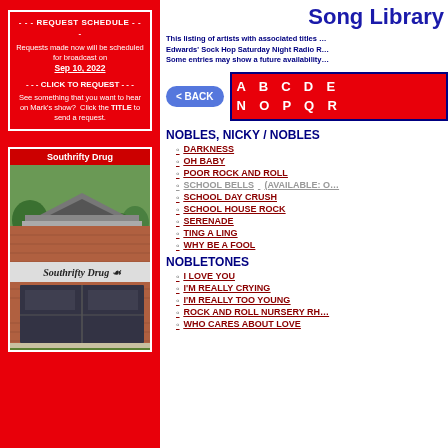- - - REQUEST SCHEDULE - - -
Requests made now will be scheduled for broadcast on Sep 10, 2022
- - - CLICK TO REQUEST - - - See something that you want to hear on Mark's show? Click the TITLE to send a request.
Southrifty Drug
[Figure (photo): Photo of Southrifty Drug store building, a brick building with a sign reading 'Southrifty Drug']
Song Library
This listing of artists with associated titles ... Edwards' Sock Hop Saturday Night Radio R... Some entries may show a future availability...
< BACK
A B C D E ... N O P Q R ...
NOBLES, NICKY / NOBLES
DARKNESS
OH BABY
POOR ROCK AND ROLL
SCHOOL BELLS (AVAILABLE: ...)
SCHOOL DAY CRUSH
SCHOOL HOUSE ROCK
SERENADE
TING A LING
WHY BE A FOOL
NOBLETONES
I LOVE YOU
I'M REALLY CRYING
I'M REALLY TOO YOUNG
ROCK AND ROLL NURSERY RH...
WHO CARES ABOUT LOVE